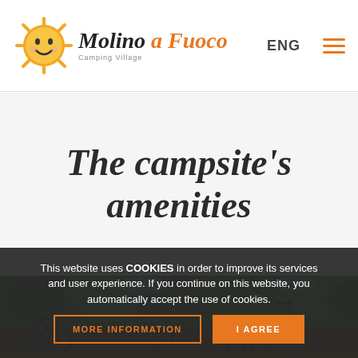Molino a Fuoco Camping Village — ENG
The campsite's amenities
[Figure (photo): Outdoor photo of bicycles parked in a campsite area with green trees in the background]
This website uses COOKIES in order to improve its services and user experience. If you continue on this website, you automatically accept the use of cookies.
MORE INFORMATION  I AGREE